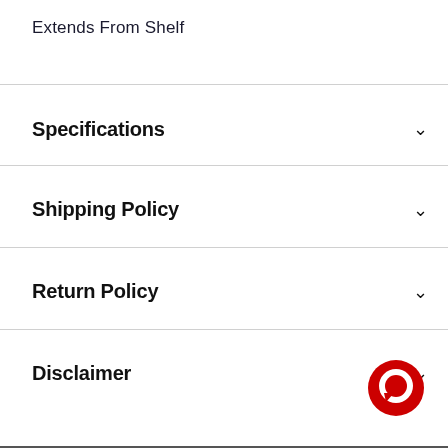Extends From Shelf
Specifications
Shipping Policy
Return Policy
Disclaimer
[Figure (logo): Red circular chat/message bubble icon]